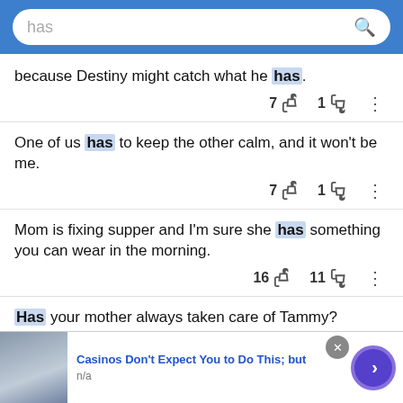[Figure (screenshot): Search bar with text 'has' and magnifying glass icon on blue background]
because Destiny might catch what he has.
7 thumbs-up  1 thumbs-down
One of us has to keep the other calm, and it won't be me.
7 thumbs-up  1 thumbs-down
Mom is fixing supper and I'm sure she has something you can wear in the morning.
16 thumbs-up  11 thumbs-down
Has your mother always taken care of Tammy?
Casinos Don't Expect You to Do This; but
n/a